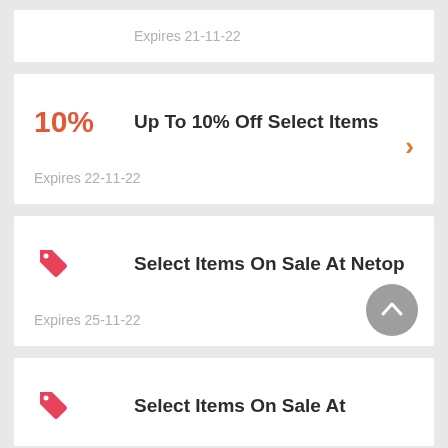Expires 21-11-22
10%  Up To 10% Off Select Items
Expires 22-11-22
Select Items On Sale At Netop
Expires 25-11-22
Select Items On Sale At